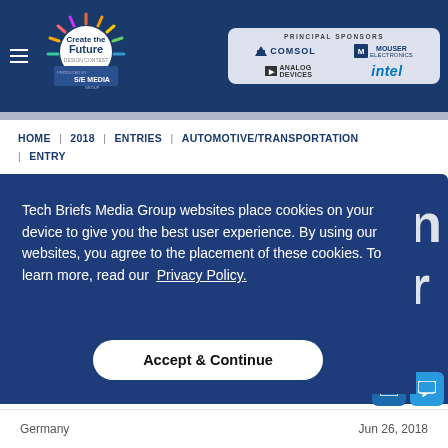Create the Future Design Contest — Principal Sponsors: COMSOL, MOUSER ELECTRONICS, ANALOG DEVICES, intel
HOME | 2018 | ENTRIES | AUTOMOTIVE/TRANSPORTATION | ENTRY
Tech Briefs Media Group websites place cookies on your device to give you the best user experience. By using our websites, you agree to the placement of these cookies. To learn more, read our Privacy Policy.
Accept & Continue
Germany	Jun 26, 2018